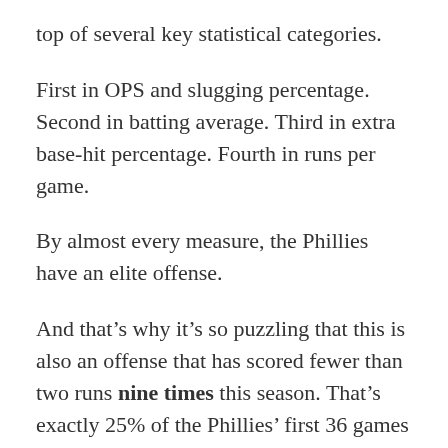top of several key statistical categories.
First in OPS and slugging percentage. Second in batting average. Third in extra base-hit percentage. Fourth in runs per game.
By almost every measure, the Phillies have an elite offense.
And that’s why it’s so puzzling that this is also an offense that has scored fewer than two runs nine times this season. That’s exactly 25% of the Phillies’ first 36 games played.
Not only did the Phillies fail to score against San Diego starter Mike Clevinger, who struggled in each of his first